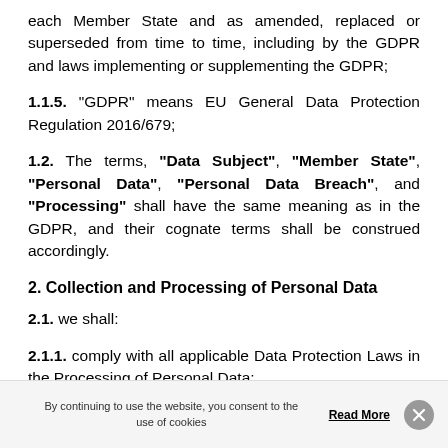each Member State and as amended, replaced or superseded from time to time, including by the GDPR and laws implementing or supplementing the GDPR;
1.1.5. "GDPR" means EU General Data Protection Regulation 2016/679;
1.2. The terms, "Data Subject", "Member State", "Personal Data", "Personal Data Breach", and "Processing" shall have the same meaning as in the GDPR, and their cognate terms shall be construed accordingly.
2. Collection and Processing of Personal Data
2.1. we shall:
2.1.1. comply with all applicable Data Protection Laws in the Processing of Personal Data;
By continuing to use the website, you consent to the use of cookies    Read More